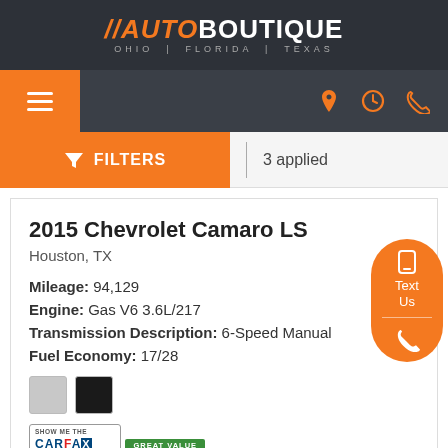//AUTOBOUTIQUE OHIO | FLORIDA | TEXAS
[Figure (screenshot): Navigation bar with hamburger menu on left and location, hours, phone icons on right]
FILTERS | 3 applied
2015 Chevrolet Camaro LS
Houston, TX
Mileage: 94,129
Engine: Gas V6 3.6L/217
Transmission Description: 6-Speed Manual
Fuel Economy: 17/28
[Figure (illustration): Two color swatches: silver and black]
[Figure (logo): SHOW ME THE CARFAX badge with GREAT VALUE label]